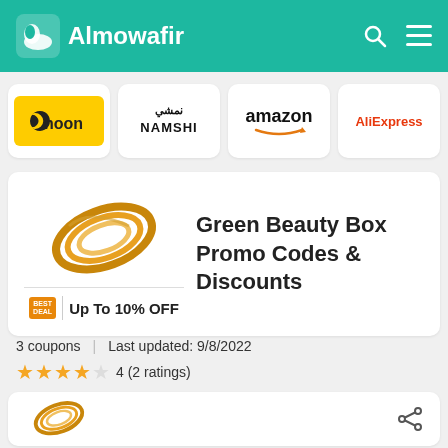Almowafir
[Figure (logo): noon brand logo - yellow background with moon icon and noon text]
[Figure (logo): NAMSHI brand logo in Arabic and English]
[Figure (logo): amazon brand logo]
[Figure (logo): AliExpress brand logo in orange]
[Figure (logo): Green Beauty Box logo - golden swirling rings]
Green Beauty Box Promo Codes & Discounts
BEST DEAL | Up To 10% OFF
3 coupons  |  Last updated: 9/8/2022
4 (2 ratings)
[Figure (logo): Green Beauty Box logo - golden swirling rings, bottom card]